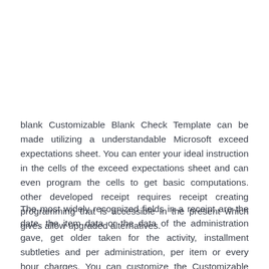blank Customizable Blank Check Template can be made utilizing a understandable Microsoft exceed expectations sheet. You can enter your ideal instruction in the cells of the exceed expectations sheet and can even program the cells to get basic computations. other developed receipt requires receipt creating programming that is accessible in the present which gives allow upgraded alternatives.
The most widely recognized fields in a receipt are the date, the item data or the data of the administration gave, get older taken for the activity, installment subtleties and per administration, per item or every hour charges. You can customize the Customizable Blank Check Template by including your thing subtleties directly at the summit bearing in mind your matter state and address, admittance subtleties, for example, the